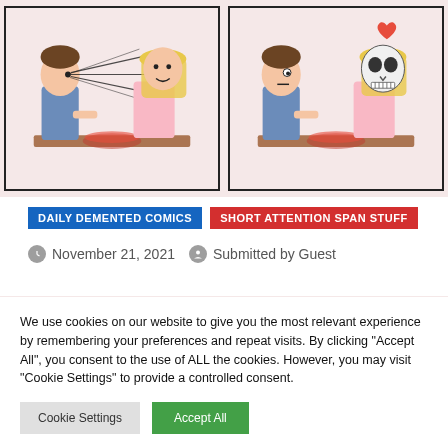[Figure (illustration): Two-panel comic strip. Left panel: a man and a blonde woman sitting at a dinner table, the man appears to be staring intensely with lines radiating from his eyes toward the woman. Right panel: same scene but the woman has a skull/skeleton face with a small heart floating above, the man looks uneasy.]
DAILY DEMENTED COMICS
SHORT ATTENTION SPAN STUFF
November 21, 2021
Submitted by Guest
[Figure (illustration): Partial comic strip panels visible at the bottom, two panels with pink/rose background, partially obscured by cookie consent overlay.]
We use cookies on our website to give you the most relevant experience by remembering your preferences and repeat visits. By clicking "Accept All", you consent to the use of ALL the cookies. However, you may visit "Cookie Settings" to provide a controlled consent.
Cookie Settings
Accept All